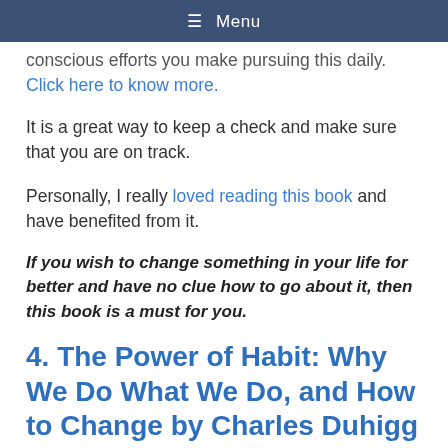≡ Menu
conscious efforts you make pursuing this daily. Click here to know more.
It is a great way to keep a check and make sure that you are on track.
Personally, I really loved reading this book and have benefited from it.
If you wish to change something in your life for better and have no clue how to go about it, then this book is a must for you.
4. The Power of Habit: Why We Do What We Do, and How to Change by Charles Duhigg